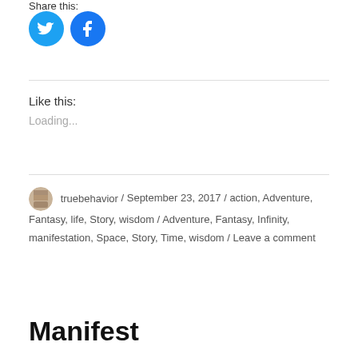Share this:
[Figure (illustration): Twitter and Facebook social share icon buttons (blue circles with white bird and f icons)]
Like this:
Loading...
truebehavior / September 23, 2017 / action, Adventure, Fantasy, life, Story, wisdom / Adventure, Fantasy, Infinity, manifestation, Space, Story, Time, wisdom / Leave a comment
Manifest